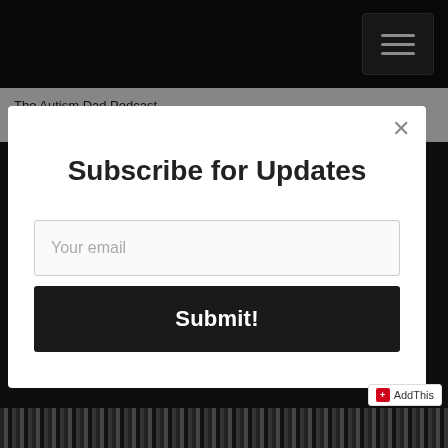The Autism Dad Podcast
.....and the winner is (feat. Dr. Jason Kahn) S5E28
Subscribe for Updates
Your email
Submit!
AddThis